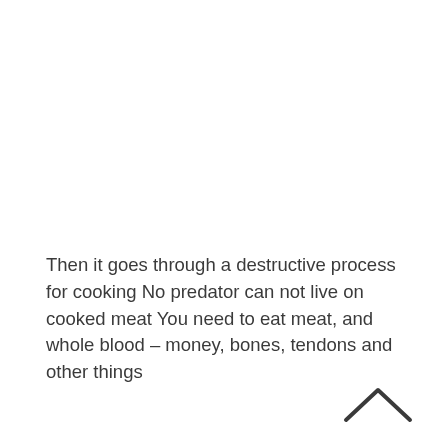Then it goes through a destructive process for cooking No predator can not live on cooked meat You need to eat meat, and whole blood – money, bones, tendons and other things